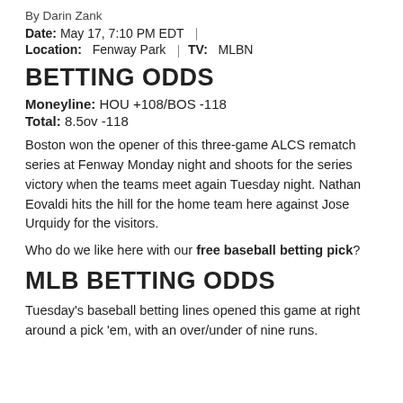By Darin Zank
Date: May 17, 7:10 PM EDT
Location: Fenway Park | TV: MLBN
BETTING ODDS
Moneyline: HOU +108/BOS -118
Total: 8.5ov -118
Boston won the opener of this three-game ALCS rematch series at Fenway Monday night and shoots for the series victory when the teams meet again Tuesday night. Nathan Eovaldi hits the hill for the home team here against Jose Urquidy for the visitors.
Who do we like here with our free baseball betting pick?
MLB BETTING ODDS
Tuesday's baseball betting lines opened this game at right around a pick 'em, with an over/under of nine runs.